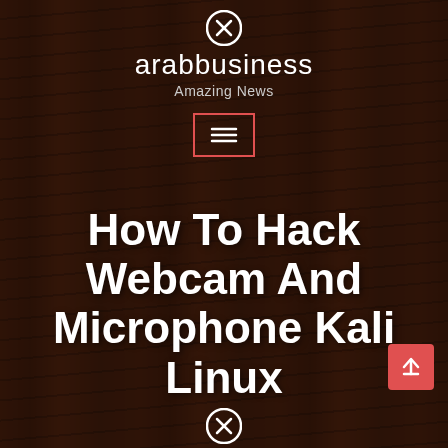arabbusiness
Amazing News
[Figure (screenshot): Hamburger menu button inside a red-outlined rectangle]
How To Hack Webcam And Microphone Kali Linux